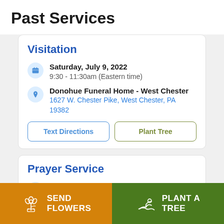Past Services
Visitation
Saturday, July 9, 2022
9:30 - 11:30am (Eastern time)
Donohue Funeral Home - West Chester
1627 W. Chester Pike, West Chester, PA 19382
Text Directions
Plant Tree
Prayer Service
Saturday, July 9, 2022
SEND FLOWERS
PLANT A TREE